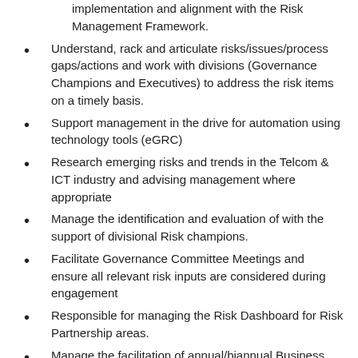implementation and alignment with the Risk Management Framework.
Understand, rack and articulate risks/issues/process gaps/actions and work with divisions (Governance Champions and Executives) to address the risk items on a timely basis.
Support management in the drive for automation using technology tools (eGRC)
Research emerging risks and trends in the Telcom & ICT industry and advising management where appropriate
Manage the identification and evaluation of with the support of divisional Risk champions.
Facilitate Governance Committee Meetings and ensure all relevant risk inputs are considered during engagement
Responsible for managing the Risk Dashboard for Risk Partnership areas.
Manage the facilitation of annual/biannual Business Impact Analysis for the organization